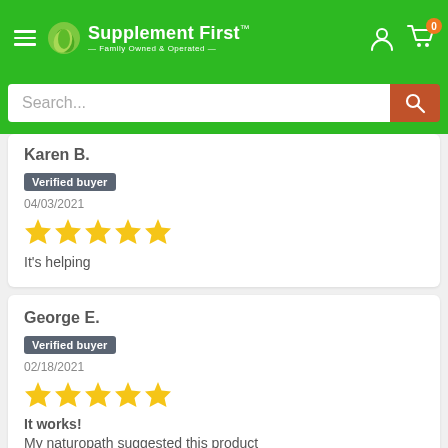Supplement First — Family Owned & Operated
Search...
Karen B.
Verified buyer
04/03/2021
It's helping
George E.
Verified buyer
02/18/2021
It works!
My naturopath suggested this product